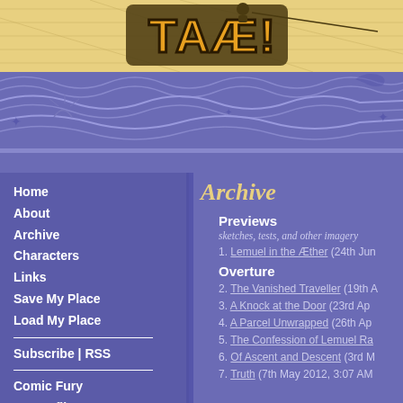[Figure (illustration): Website header banner with golden/tan background showing a stylized comic logo at top, and a blue/purple ocean wave decorative illustration below with wave patterns, stars, and nautical motifs]
Home
About
Archive
Characters
Links
Save My Place
Load My Place
Subscribe | RSS
Comic Fury
My Profile
Archive
Previews
sketches, tests, and other imagery
1. Lemuel in the Æther (24th Jun
Overture
2. The Vanished Traveller (19th A
3. A Knock at the Door (23rd Ap
4. A Parcel Unwrapped (26th Ap
5. The Confession of Lemuel Ra
6. Of Ascent and Descent (3rd M
7. Truth (7th May 2012, 3:07 AM